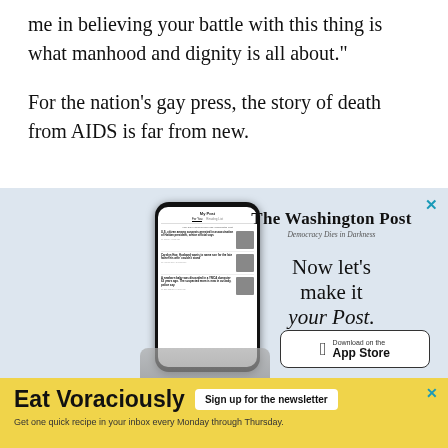me in believing your battle with this thing is what manhood and dignity is all about."
For the nation's gay press, the story of death from AIDS is far from new.
[Figure (screenshot): Washington Post advertisement showing a smartphone with the Washington Post app, branding text 'The Washington Post / Democracy Dies in Darkness', tagline 'Now let's make it your Post.', and an App Store download button.]
[Figure (infographic): Eat Voraciously newsletter banner advertisement with yellow background, bold title 'Eat Voraciously', a 'Sign up for the newsletter' button, and subtext 'Get one quick recipe in your inbox every Monday through Thursday.']